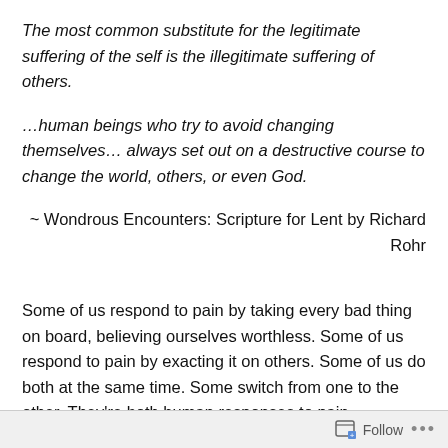The most common substitute for the legitimate suffering of the self is the illegitimate suffering of others.
…human beings who try to avoid changing themselves… always set out on a destructive course to change the world, others, or even God.
~ Wondrous Encounters: Scripture for Lent by Richard Rohr
Some of us respond to pain by taking every bad thing on board, believing ourselves worthless. Some of us respond to pain by exacting it on others. Some of us do both at the same time. Some switch from one to the other. They're both human responses to pain – possibly even to the human condition. Jesus did not. He turned the world on its
Follow